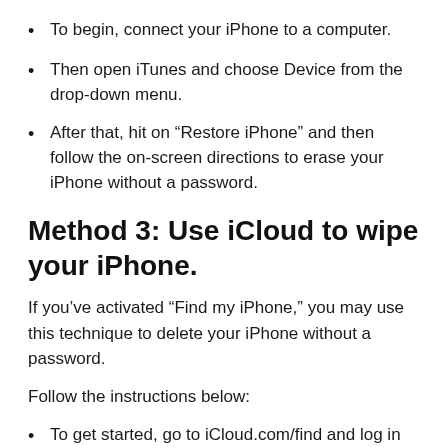To begin, connect your iPhone to a computer.
Then open iTunes and choose Device from the drop-down menu.
After that, hit on “Restore iPhone” and then follow the on-screen directions to erase your iPhone without a password.
Method 3: Use iCloud to wipe your iPhone.
If you’ve activated “Find my iPhone,” you may use this technique to delete your iPhone without a password.
Follow the instructions below:
To get started, go to iCloud.com/find and log in with your Apple ID and password.